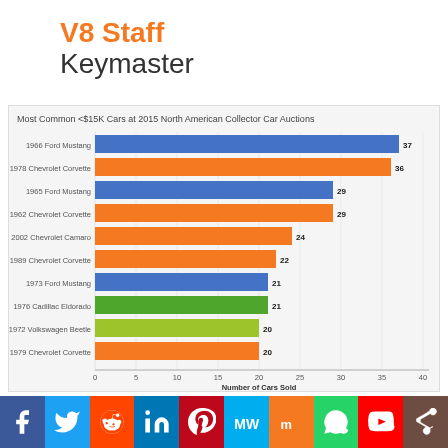V8 Staff
Keymaster
[Figure (bar-chart): Most Common <$15K Cars at 2015 North American Collector Car Auctions]